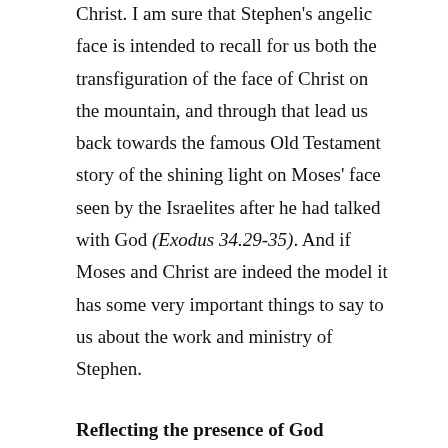Christ. I am sure that Stephen's angelic face is intended to recall for us both the transfiguration of the face of Christ on the mountain, and through that lead us back towards the famous Old Testament story of the shining light on Moses' face seen by the Israelites after he had talked with God (Exodus 34.29-35). And if Moses and Christ are indeed the model it has some very important things to say to us about the work and ministry of Stephen.
Reflecting the presence of God
Why was it that Moses' 'face shone'? It happened because the Israelites had committed the great sin of the golden calf and God had wanted to destroy them: Moses pleaded for his people, taking on an angry God, even at the threat of his own life. He was so serious about the